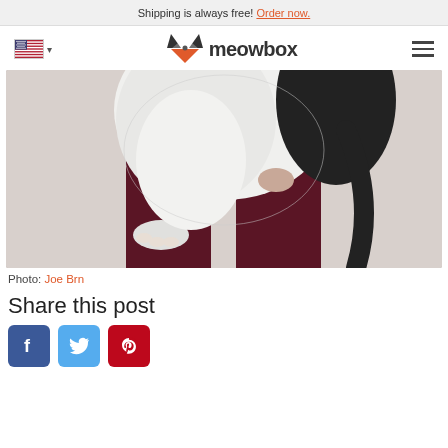Shipping is always free! Order now.
[Figure (logo): Meowbox logo with stylized cat face icon and 'meowbox' wordmark, US flag and hamburger menu]
[Figure (photo): Black and white tuxedo cat being held up by a person wearing dark burgundy pants, cat's legs and tail dangling down]
Photo: Joe Brn
Share this post
[Figure (infographic): Three social media share buttons: Facebook (blue), Twitter (light blue), Pinterest (red)]